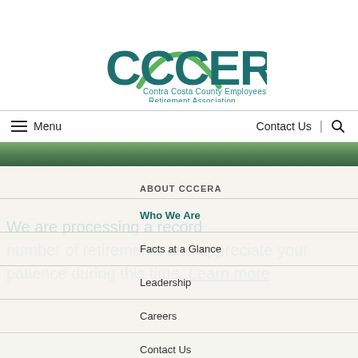[Figure (logo): CCCERA logo with green arc above teal CCCERA text and subtitle 'Contra Costa County Employees' Retirement Association']
Menu | Contact Us | Search
[Figure (photo): Green landscape/nature hero banner strip]
ABOUT CCCERA
Who We Are
Facts at a Glance
Leadership
Careers
Contact Us
We are processing a record number of retirements and appreciate your patience during this time. Learn more